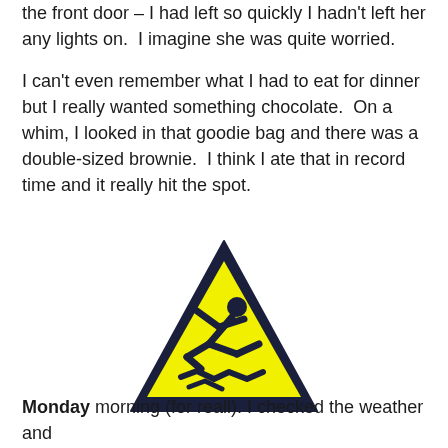the front door – I had left so quickly I hadn't left her any lights on.  I imagine she was quite worried.
I can't even remember what I had to eat for dinner but I really wanted something chocolate.  On a whim, I looked in that goodie bag and there was a double-sized brownie.  I think I ate that in record time and it really hit the spot.
[Figure (illustration): A yellow caution/warning sign (triangular) with a dark navy border showing a person slipping and falling on a wet floor.]
Monday morning (for reall). I checked the weather and